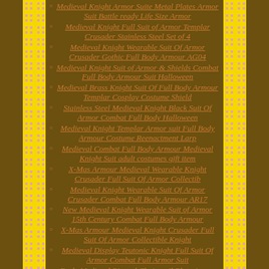Medieval Knight Armor Suite Metal Plates Armor Suit Battle ready Life Size Armor
Medieval Knight Full Suit of Armor Templar Crusader Stainless Steel Set of 4
Medieval Knight Wearable Suit Of Armor Crusader Gothic Full Body Armour AG04
Medieval Knight Suit of Armor & Shields Combat Full Body Armour Suit Halloween
Medieval Brass Knight Suit Of Full Body Armour Templar Cosplay Costume Shield
Stainless Steel Medieval Knight Black Suit Of Armor Combat Full Body Halloween
Medieval Knight Templar Armor suit Full Body Armour Costume Reenactment Larp
Medieval Combat Full Body Armour Medieval Knight Suit adult costumes gift item
X-Mas Armour Medieval Wearable Knight Crusader Full Suit Of Armor Collectib
Medieval Knight Wearable Suit Of Armor Crusader Combat Full Body Armour AR17
New Medieval Knight Wearable Suit of Armor 15th Century Combat Full Body Armour
X-Mas Armour Medieval Knight Crusader Full Suit Of Armor Collectible Knight
Medieval Display Teutonic Knight Full Suit Of Armor Combat Full Armor Suit
Early Medieval Riveted Chainmail Plate Armor Knight Lamellar Suit Of Armor
Medieval Knight Suit Armor Medieval Combat Full Body